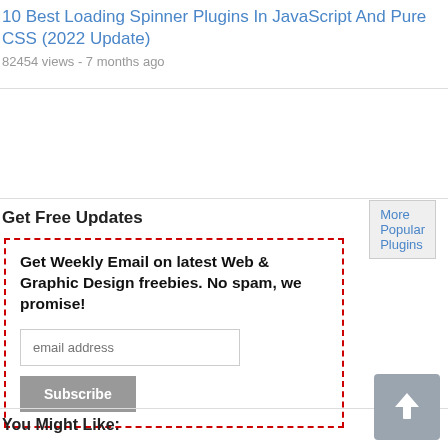10 Best Loading Spinner Plugins In JavaScript And Pure CSS (2022 Update)
82454 views - 7 months ago
More Popular Plugins
Get Free Updates
Get Weekly Email on latest Web & Graphic Design freebies. No spam, we promise!
You Might Like: